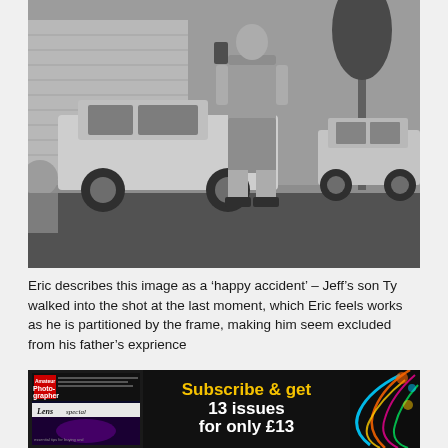[Figure (photo): Black and white photograph of a suburban scene. A tall person (Jeff) stands on a lawn looking at their phone, wearing a t-shirt and shorts with dark sneakers. A child (Ty) is partially visible at the left edge of the frame, cropped out. In the background there are parked vehicles including a white pickup truck and an SUV, a house, and trees.]
Eric describes this image as a ‘happy accident’ – Jeff’s son Ty walked into the shot at the last moment, which Eric feels works as he is partitioned by the frame, making him seem excluded from his father’s exprience
[Figure (photo): Advertisement for Amateur Photographer magazine. Dark background with magazine cover on left showing 'Amateur Photographer' logo and 'Lens special' text. Centre text reads 'Subscribe & get 13 issues for only £13' in yellow and white bold text. Right side shows colorful swirling light trails on dark background.]